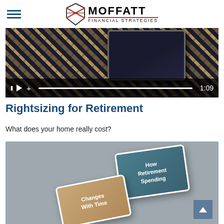MOFFATT FINANCIAL STRATEGIES
[Figure (screenshot): Video screenshot showing plaid fabric and tablet with video controls bar showing pause, play, plus icons, progress bar, and timestamp 1:09]
Rightsizing for Retirement
What does your home really cost?
[Figure (photo): Gray background with two overlapping cards: one teal card reading 'How Retirement Spending' and one tan/beige card reading 'Changes With Time']